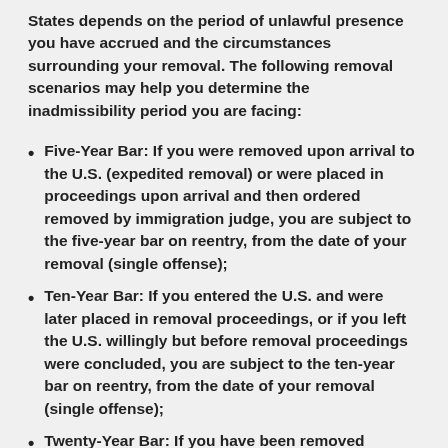States depends on the period of unlawful presence you have accrued and the circumstances surrounding your removal. The following removal scenarios may help you determine the inadmissibility period you are facing:
Five-Year Bar: If you were removed upon arrival to the U.S. (expedited removal) or were placed in proceedings upon arrival and then ordered removed by immigration judge, you are subject to the five-year bar on reentry, from the date of your removal (single offense);
Ten-Year Bar: If you entered the U.S. and were later placed in removal proceedings, or if you left the U.S. willingly but before removal proceedings were concluded, you are subject to the ten-year bar on reentry, from the date of your removal (single offense);
Twenty-Year Bar: If you have been removed